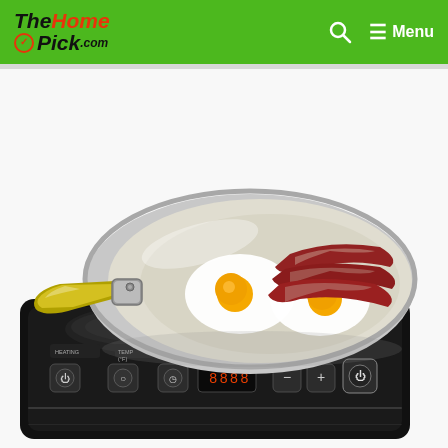TheHomePick.com — Menu
[Figure (photo): Product photo of a Duxtop induction cooktop burner with a stainless steel frying pan on top containing two fried eggs and strips of bacon cooking. The induction cooktop is black with touch control buttons labeled HEATING, TEMP, TIMER, and POWER with a digital display. Brand name Duxtop is visible on the unit.]